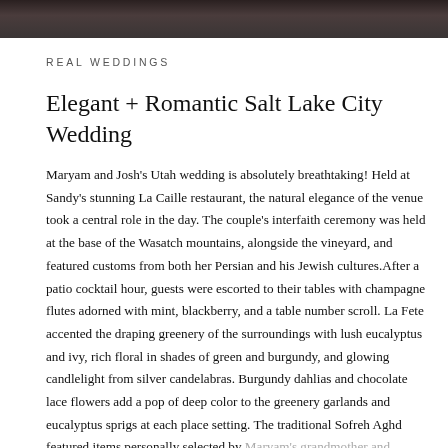[Figure (photo): Dark photograph strip at the top of the page, showing a dimly lit scene]
REAL WEDDINGS
Elegant + Romantic Salt Lake City Wedding
Maryam and Josh's Utah wedding is absolutely breathtaking! Held at Sandy's stunning La Caille restaurant, the natural elegance of the venue took a central role in the day. The couple's interfaith ceremony was held at the base of the Wasatch mountains, alongside the vineyard, and featured customs from both her Persian and his Jewish cultures.After a patio cocktail hour, guests were escorted to their tables with champagne flutes adorned with mint, blackberry, and a table number scroll. La Fete accented the draping greenery of the surroundings with lush eucalyptus and ivy, rich floral in shades of green and burgundy, and glowing candlelight from silver candelabras. Burgundy dahlias and chocolate lace flowers add a pop of deep color to the greenery garlands and eucalyptus sprigs at each place setting. The traditional Sofreh Aghd featured items personally selected by Maryam's grandmother and mother in the bazaars in Iran, and of course, everyone joined in for the Jewish Horah! The entire day is absolute perfection, beautifully